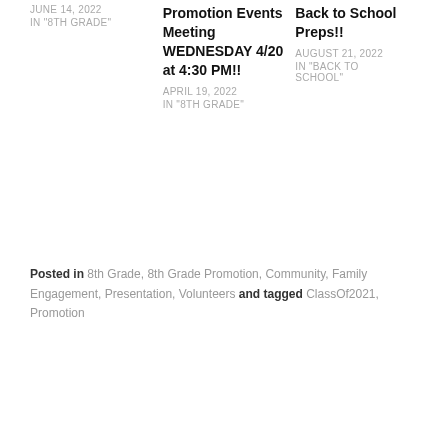JUNE 14, 2022
IN "8TH GRADE"
Promotion Events Meeting WEDNESDAY 4/20 at 4:30 PM!!
APRIL 19, 2022
IN "8TH GRADE"
Back to School Preps!!
AUGUST 21, 2022
IN "BACK TO SCHOOL"
Posted in 8th Grade, 8th Grade Promotion, Community, Family Engagement, Presentation, Volunteers and tagged ClassOf2021, Promotion